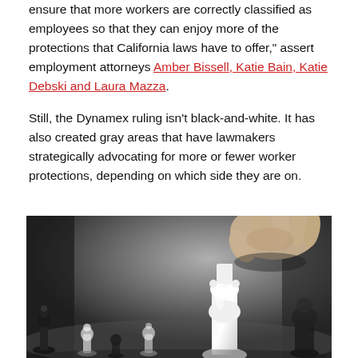ensure that more workers are correctly classified as employees so that they can enjoy more of the protections that California laws have to offer," assert employment attorneys Amber Bissell, Katie Bain, Katie Debski and Laura Mazza.
Still, the Dynamex ruling isn't black-and-white. It has also created gray areas that have lawmakers strategically advocating for more or fewer worker protections, depending on which side they are on.
[Figure (photo): Black and white photograph of chess pieces on a board, with a hand holding a white chess piece (queen) prominently in the foreground and various black and white chess pieces blurred in the background.]